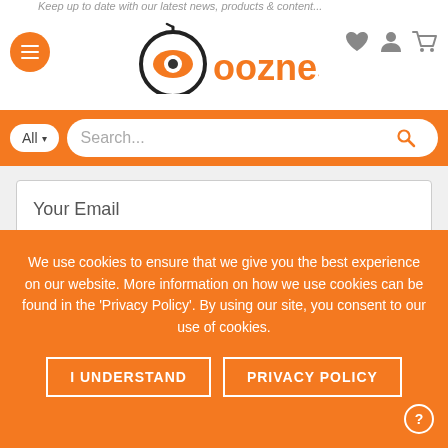Keep up to date with our latest news, products & content...
[Figure (logo): Ooznest logo with orange circular eye icon and orange text 'ooznest']
All  Search...
Your Email
SIGN UP
TWITTER
We use cookies to ensure that we give you the best experience on our website. More information on how we use cookies can be found in the 'Privacy Policy'. By using our site, you consent to our use of cookies.
I UNDERSTAND
PRIVACY POLICY